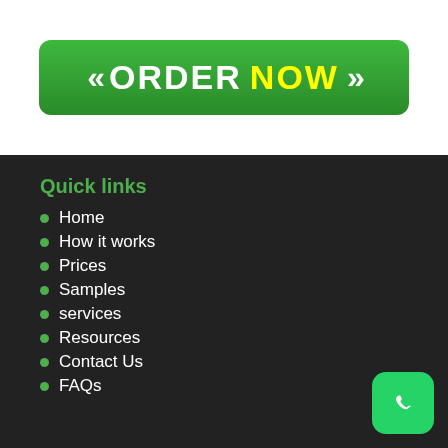[Figure (other): Green ORDER NOW button with white chevrons on left and right, yellow NOW text, on white background]
Quick links
Home
How it works
Prices
Samples
services
Resources
Contact Us
FAQs
[Figure (other): WhatsApp icon button, green rounded square with white phone/chat icon]